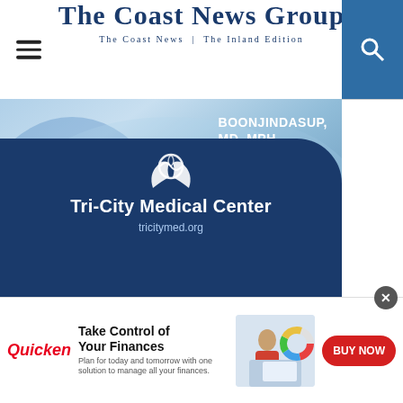The Coast News Group — The Coast News | The Inland Edition
[Figure (illustration): Tri-City Medical Center advertisement featuring a urologist in blue scrubs at the top, text overlay reading BOONJINDASUP, MD, MPH / Urologist, then on white background: IF YOU SUFFER FROM BPH, THE FIRST THING WE SHRINK IS YOUR ANXIETY., then dark blue bottom with Tri-City Medical Center logo and URL tricitymed.org]
[Figure (illustration): Quicken financial software banner advertisement with tagline Take Control of Your Finances, Plan for today and tomorrow with one solution to manage all your finances., with image of woman at laptop and BUY NOW button]